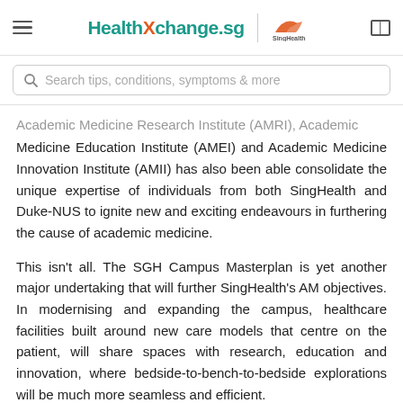HealthXchange.sg | SingHealth
Search tips, conditions, symptoms & more
Academic Medicine Research Institute (AMRI), Academic Medicine Education Institute (AMEI) and Academic Medicine Innovation Institute (AMII) has also been able consolidate the unique expertise of individuals from both SingHealth and Duke-NUS to ignite new and exciting endeavours in furthering the cause of academic medicine.
This isn't all. The SGH Campus Masterplan is yet another major undertaking that will further SingHealth's AM objectives. In modernising and expanding the campus, healthcare facilities built around new care models that centre on the patient, will share spaces with research, education and innovation, where bedside-to-bench-to-bedside explorations will be much more seamless and efficient.